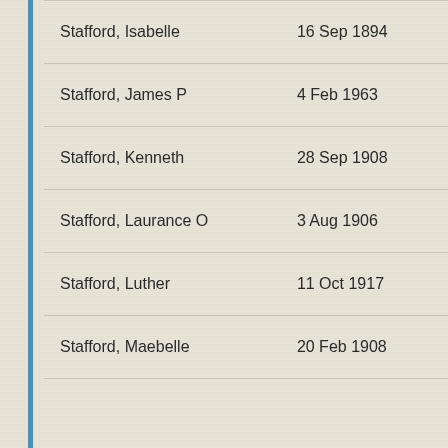| Name | Date |
| --- | --- |
| Stafford, Isabelle | 16 Sep 1894 |
| Stafford, James P | 4 Feb 1963 |
| Stafford, Kenneth | 28 Sep 1908 |
| Stafford, Laurance O | 3 Aug 1906 |
| Stafford, Luther | 11 Oct 1917 |
| Stafford, Maebelle | 20 Feb 1908 |